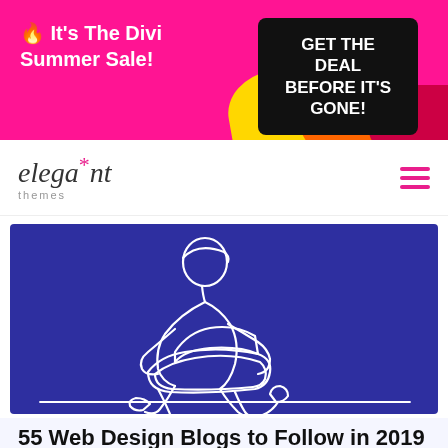[Figure (infographic): Promotional banner with pink background, text '🔥 It's The Divi Summer Sale!' on left, black box with 'GET THE DEAL BEFORE IT'S GONE!' on right, decorative yellow/orange/red shapes on right side]
elegant themes (logo with hamburger menu)
[Figure (illustration): Blue/indigo background with white line-art illustration of a person sitting cross-legged using a laptop computer]
55 Web Design Blogs to Follow in 2019
Posted on January 6, 2019 in Resources